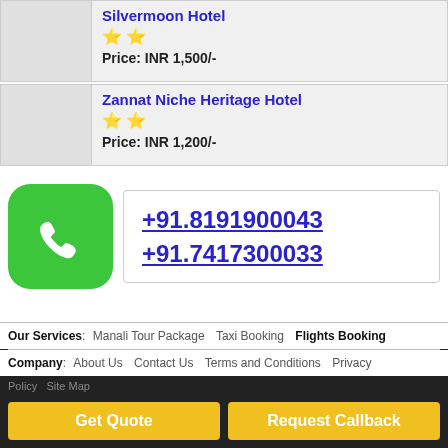Silvermoon Hotel — ★★ — Price: INR 1,500/-
Zannat Niche Heritage Hotel — ★★ — Price: INR 1,200/-
[Figure (other): Green phone icon in rounded square]
+91.8191900043
+91.7417300033
Our Services: Manali Tour Package  Taxi Booking  Flights Booking
Company: About Us  Contact Us  Terms and Conditions  Privacy Policy  Site Map
Get Quote   Request Callback